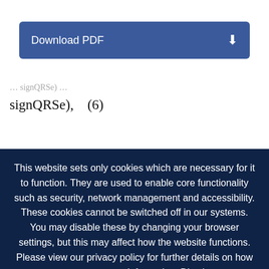[Figure (screenshot): Download PDF button with blue background and download icon]
where & and | are the symbols for conjunction and disjunction, respectively. The set of criteria (6) includes the following cases of detected VBs with relatively steep
This website sets only cookies which are necessary for it to function. They are used to enable core functionality such as security, network management and accessibility. These cookies cannot be switched off in our systems. You may disable these by changing your browser settings, but this may affect how the website functions. Please view our privacy policy for further details on how we process your information. Dismiss